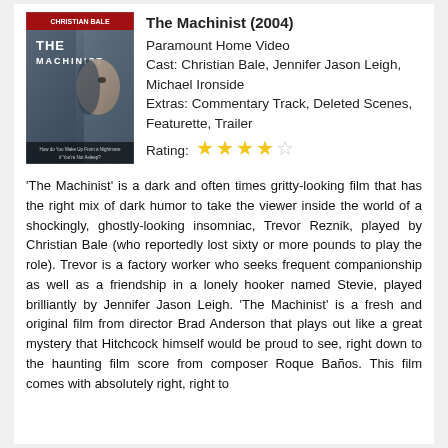[Figure (photo): Movie poster for The Machinist (2004) showing Christian Bale with tagline text at bottom]
The Machinist (2004)
Paramount Home Video
Cast: Christian Bale, Jennifer Jason Leigh, Michael Ironside
Extras: Commentary Track, Deleted Scenes, Featurette, Trailer
Rating: ★★★☆☆ (3.5 out of 5 stars filled, approximately 3.5)
'The Machinist' is a dark and often times gritty-looking film that has the right mix of dark humor to take the viewer inside the world of a shockingly, ghostly-looking insomniac, Trevor Reznik, played by Christian Bale (who reportedly lost sixty or more pounds to play the role). Trevor is a factory worker who seeks frequent companionship as well as a friendship in a lonely hooker named Stevie, played brilliantly by Jennifer Jason Leigh. 'The Machinist' is a fresh and original film from director Brad Anderson that plays out like a great mystery that Hitchcock himself would be proud to see, right down to the haunting film score from composer Roque Baños. This film comes with absolutely right, right to...